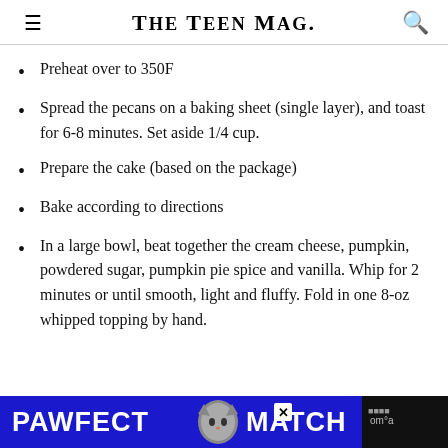The Teen Mag.
Preheat over to 350F
Spread the pecans on a baking sheet (single layer), and toast for 6-8 minutes. Set aside 1/4 cup.
Prepare the cake (based on the package)
Bake according to directions
In a large bowl, beat together the cream cheese, pumpkin, powdered sugar, pumpkin pie spice and vanilla. Whip for 2 minutes or until smooth, light and fluffy. Fold in one 8-oz whipped topping by hand.
[Figure (other): Advertisement banner for PAWFECT MATCH featuring a cat graphic on a blue background]